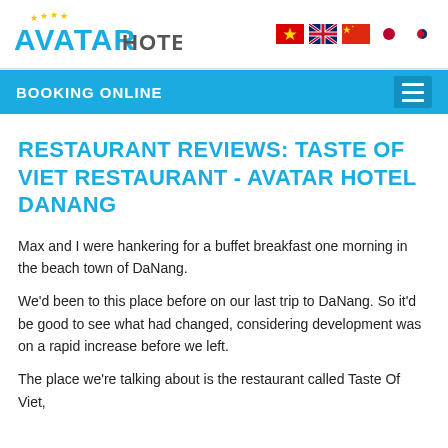AVATAR HOTEL
BOOKING ONLINE
RESTAURANT REVIEWS: TASTE OF VIET RESTAURANT - AVATAR HOTEL DANANG
Max and I were hankering for a buffet breakfast one morning in the beach town of DaNang.
We'd been to this place before on our last trip to DaNang. So it'd be good to see what had changed, considering development was on a rapid increase before we left.
The place we're talking about is the restaurant called Taste Of Viet,